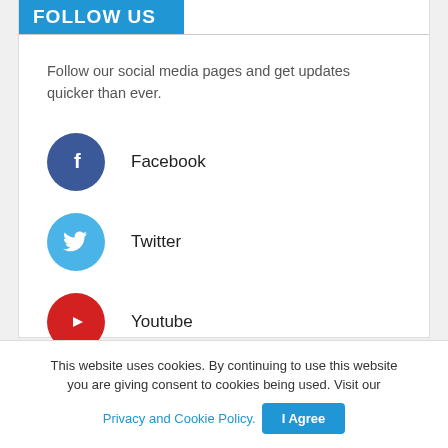FOLLOW US
Follow our social media pages and get updates quicker than ever.
Facebook
Twitter
Youtube
Instagram
This website uses cookies. By continuing to use this website you are giving consent to cookies being used. Visit our Privacy and Cookie Policy. I Agree